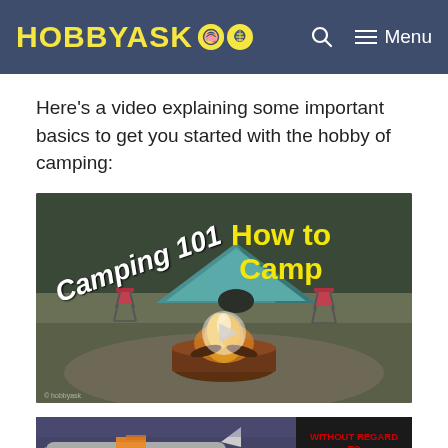HOBBYASK
Here’s a video explaining some important basics to get you started with the hobby of camping:
[Figure (screenshot): Video thumbnail showing a camping scene with a campfire in a metal bowl, two folding chairs, and a tent in the background. Text overlays read 'Camping 101' on the left and 'How to Camp' in yellow on the right, with a play button in the center.]
[Figure (photo): Advertisement banner showing an airplane being loaded/unloaded on the left half, and a dark panel on the right with red text reading 'WITHOUT REGARD TO' and smaller text below.]